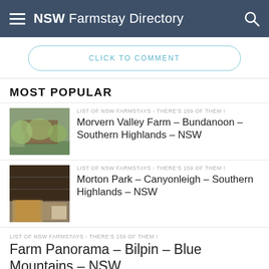NSW Farmstay Directory
CLICK TO COMMENT
MOST POPULAR
LIST OF NSW FARMSTAYS - THERE'S 159 OF THEM !
Morvern Valley Farm – Bundanoon – Southern Highlands – NSW
LIST OF NSW FARMSTAYS - THERE'S 159 OF THEM !
Morton Park – Canyonleigh – Southern Highlands – NSW
LIST OF NSW FARMSTAYS - THERE'S 159 OF THEM !
Farm Panorama – Bilpin – Blue Mountains – NSW
TIPS AND HINTS FOR A GREAT NSW FARMSTAY